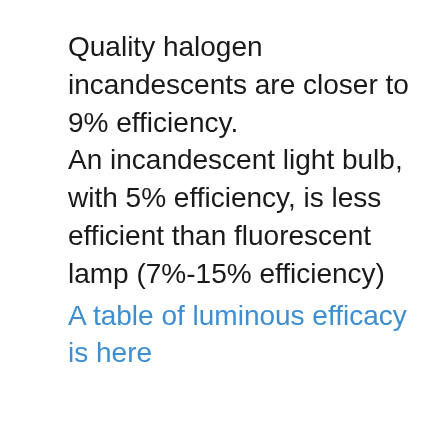Quality halogen incandescents are closer to 9% efficiency.
An incandescent light bulb, with 5% efficiency, is less efficient than fluorescent lamp (7%-15% efficiency)
A table of luminous efficacy is here